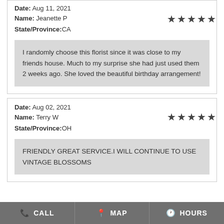Date: Aug 11, 2021
Name: Jeanette P
State/Province:CA
★★★★★ (5 stars)
I randomly choose this florist since it was close to my friends house. Much to my surprise she had just used them 2 weeks ago. She loved the beautiful birthday arrangement!
Date: Aug 02, 2021
Name: Terry W
State/Province:OH
★★★★★ (5 stars)
FRIENDLY GREAT SERVICE.I WILL CONTINUE TO USE VINTAGE BLOSSOMS
CALL  MAP  HOURS